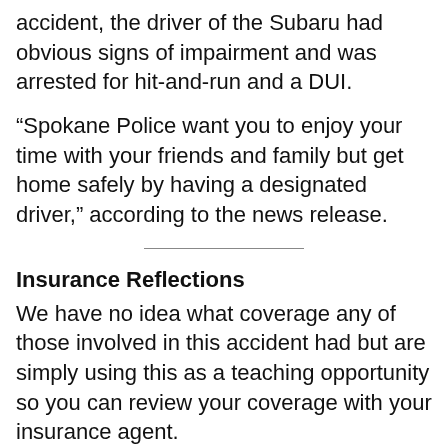accident, the driver of the Subaru had obvious signs of impairment and was arrested for hit-and-run and a DUI.
“Spokane Police want you to enjoy your time with your friends and family but get home safely by having a designated driver,” according to the news release.
Insurance Reflections
We have no idea what coverage any of those involved in this accident had but are simply using this as a teaching opportunity so you can review your coverage with your insurance agent.
#KnowYourCoverages
Anytime you see an accident, it is a good time to review your coverage and imagine how your insurance would protect you if you were the at-fault driver or if you were the one hit. If you don’t know your coverages or are unsure how they would work, you should contact your insurance